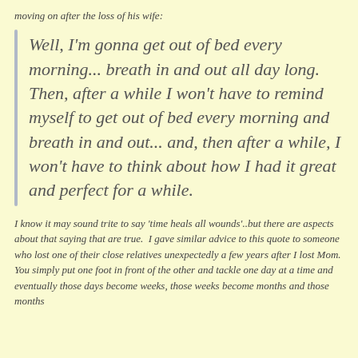moving on after the loss of his wife:
Well, I'm gonna get out of bed every morning... breath in and out all day long. Then, after a while I won't have to remind myself to get out of bed every morning and breath in and out... and, then after a while, I won't have to think about how I had it great and perfect for a while.
I know it may sound trite to say 'time heals all wounds'..but there are aspects about that saying that are true.  I gave similar advice to this quote to someone who lost one of their close relatives unexpectedly a few years after I lost Mom.  You simply put one foot in front of the other and tackle one day at a time and eventually those days become weeks, those weeks become months and those months